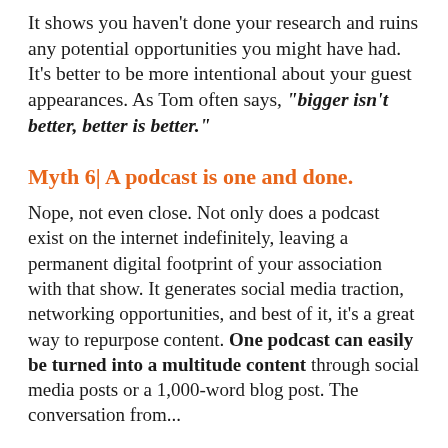It shows you haven't done your research and ruins any potential opportunities you might have had. It's better to be more intentional about your guest appearances. As Tom often says, "bigger isn't better, better is better."
Myth 6| A podcast is one and done.
Nope, not even close. Not only does a podcast exist on the internet indefinitely, leaving a permanent digital footprint of your association with that show. It generates social media traction, networking opportunities, and best of it, it's a great way to repurpose content. One podcast can easily be turned into a multitude content through social media posts or a 1,000-word blog post. The conversation from...